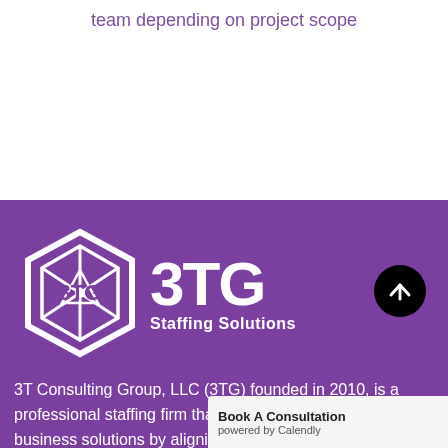team depending on project scope
[Figure (logo): 3TG Staffing Solutions logo: hexagonal emblem with '3TG' initials on purple background, with text '3TG Staffing Solutions' beside it]
3T Consulting Group, LLC (3TG) founded in 2010, is a professional staffing firm that focuses on delivering optimal business solutions by aligning people, processes, and executing org and Fortune 500 Companies across all industry